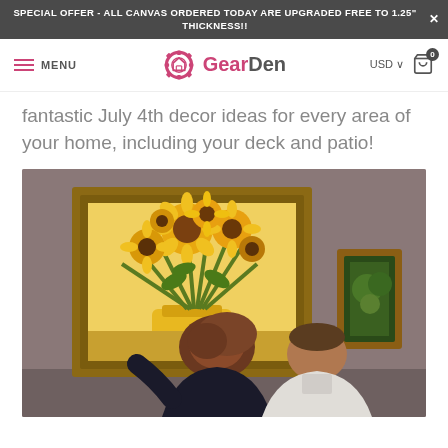SPECIAL OFFER - ALL CANVAS ORDERED TODAY ARE UPGRADED FREE TO 1.25" THICKNESS!!
[Figure (screenshot): GearDen website navigation bar with hamburger menu, GearDen logo with gear icon, USD currency selector, and shopping cart icon with 0 badge]
fantastic July 4th decor ideas for every area of your home, including your deck and patio!
[Figure (photo): Two people (seen from behind) viewing Van Gogh's Sunflowers painting in a museum gallery. A second framed painting is partially visible on the right.]